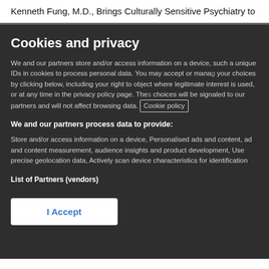Kenneth Fung, M.D., Brings Culturally Sensitive Psychiatry to
Cookies and privacy
We and our partners store and/or access information on a device, such a unique IDs in cookies to process personal data. You may accept or manage your choices by clicking below, including your right to object where legitimate interest is used, or at any time in the privacy policy page. These choices will be signaled to our partners and will not affect browsing data. Cookie policy
We and our partners process data to provide:
Store and/or access information on a device, Personalised ads and content, ad and content measurement, audience insights and product development, Use precise geolocation data, Actively scan device characteristics for identification
List of Partners (vendors)
I Accept